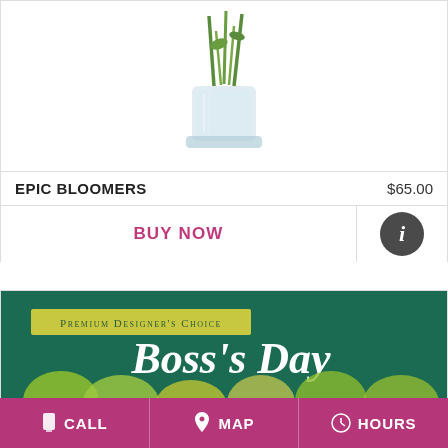[Figure (photo): Glass vase with green stems/flowers - Epic Bloomers product image]
EPIC BLOOMERS    $65.00
BUY NOW
[Figure (photo): Boss's Day Premium Designer's Choice floral arrangement with yellow-green carnations and green flowers on dark teal background]
CALL   MAP   HOURS